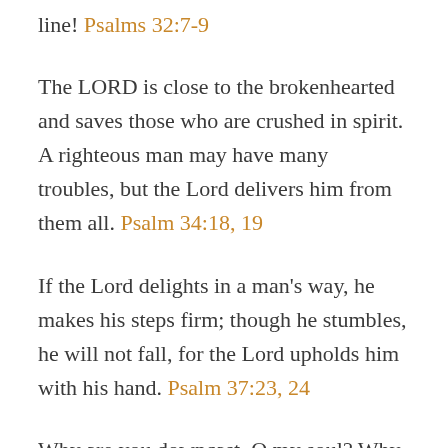line! Psalms 32:7-9
The LORD is close to the brokenhearted and saves those who are crushed in spirit. A righteous man may have many troubles, but the Lord delivers him from them all. Psalm 34:18, 19
If the Lord delights in a man’s way, he makes his steps firm; though he stumbles, he will not fall, for the Lord upholds him with his hand. Psalm 37:23, 24
Why are you downcast, O my soul? Why so disturbed within me? Put your hope in God, for I will